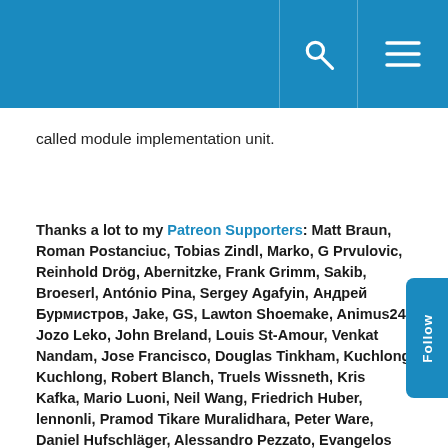called module implementation unit.
Thanks a lot to my Patreon Supporters: Matt Braun, Roman Postanciuc, Tobias Zindl, Marko, G Prvulovic, Reinhold Drög, Abernitzke, Frank Grimm, Sakib, Broeserl, António Pina, Sergey Agafyin, Андрей Бурмистров, Jake, GS, Lawton Shoemake, Animus24, Jozo Leko, John Breland, Louis St-Amour, Venkat Nandam, Jose Francisco, Douglas Tinkham, Kuchlong Kuchlong, Robert Blanch, Truels Wissneth, Kris Kafka, Mario Luoni, Neil Wang, Friedrich Huber, lennonli, Pramod Tikare Muralidhara, Peter Ware, Daniel Hufschläger, Alessandro Pezzato, Evangelos Denaxas, Bob Perry, Satish Vangipuram, Andi Ireland, Richard Ohnemus, Michael Dunsky, Leo Goodstadt, John Wiederhirn, Yacob Cohen-Arazi, Florian Tischler, Robin Furness, Michael Young, Holger Detering, Bernd Mühlhaus, Matthieu Bolt, Stephen Kelley, Kyle Dean